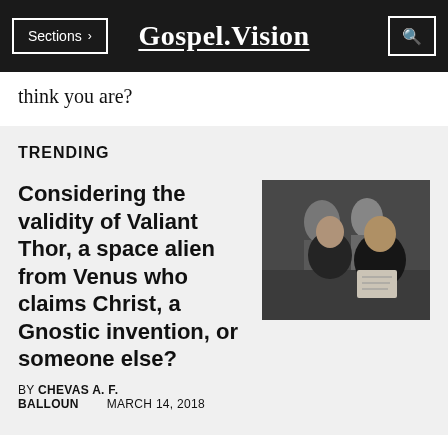Gospel.Vision
think you are?
TRENDING
Considering the validity of Valiant Thor, a space alien from Venus who claims Christ, a Gnostic invention, or someone else?
[Figure (photo): Two men in dark suits sitting together, reading papers, with a crowd visible in the background. Black and white or muted color photo.]
BY CHEVAS A. F. BALLOUN    MARCH 14, 2018
Frank Stranges tells us about the mysterious figure, Valiant Thor, his origins, his biology, and that he bears the name of Christ. Is there any weight to what